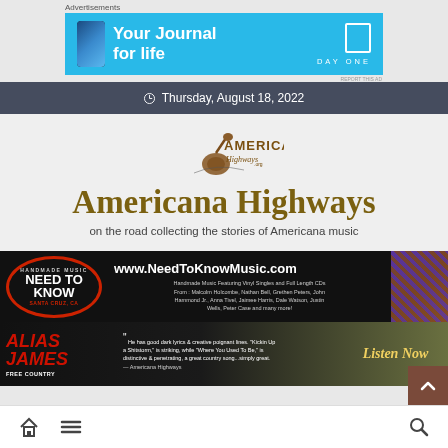Advertisements
[Figure (screenshot): Day One app advertisement banner: blue background with phone image, text 'Your Journal for life' and 'DAY ONE' logo]
REPORT THIS AD
Thursday, August 18, 2022
[Figure (logo): Americana Highways logo with guitar silhouette]
Americana Highways
on the road collecting the stories of Americana music
[Figure (screenshot): Need To Know Music advertisement - www.NeedToKnowMusic.com - Handmade Music Featuring Vinyl Singles and Full Length CDs From: Malcolm Holcombe, Nathan Bell, Grethen Peters, John Hammond Jr., Anna Tivel, Jaimee Harris, Dale Watson, Justin Wells, Peter Case and many more!]
[Figure (screenshot): Alias James Free Country advertisement - quote: 'He has good dark lyrics & creative poignant lines. "Kickin Up a Shitstorm," is striking, while "Where You Used To Be," is distinctive & penetrating, a great country song...simply great. — Americana Highways' - Listen Now]
Navigation bar with home icon, menu icon, back to top button, and search icon